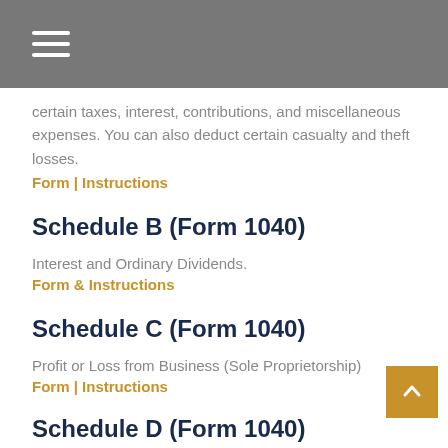Navigation menu icon
certain taxes, interest, contributions, and miscellaneous expenses. You can also deduct certain casualty and theft losses.
Form | Instructions
Schedule B (Form 1040)
Interest and Ordinary Dividends.
Form & Instructions
Schedule C (Form 1040)
Profit or Loss from Business (Sole Proprietorship)
Form | Instructions
Schedule D (Form 1040)